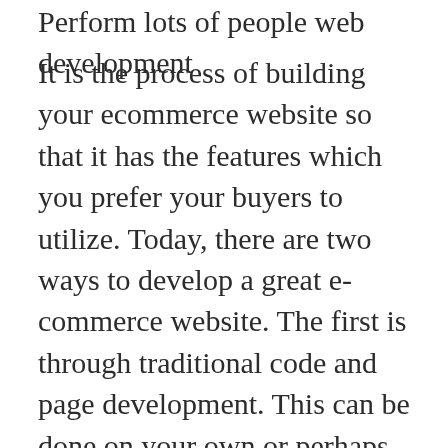Perform lots of people web development
It is the process of building your ecommerce website so that it has the features which you prefer your buyers to utilize. Today, there are two ways to develop a great e-commerce website. The first is through traditional code and page development. This can be done on your own or perhaps with the assistance of a professional web developer. The various other option is definitely using an online web contractor tool. Modern day hosting platforms often provide website owners with an online program that they can value to build their particular websites simply by picking, transferring and decreasing website elements. The website constructors are so user friendly